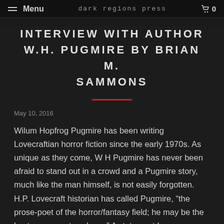Menu   Dark Regions Press   0
INTERVIEW WITH AUTHOR W.H. PUGMIRE BY BRIAN M. SAMMONS
May 10, 2016
Wilum Hopfrog Pugmire has been writing Lovecraftian horror fiction since the early 1970s. As unique as they come, W H Pugmire has never been afraid to stand out in a crowd and a Pugmire story, much like the man himself, is not easily forgotten. H.P. Lovecraft historian has called Pugmire, “the prose-poet of the horror/fantasy field; he may be the best prose-poet we have.” A statement I